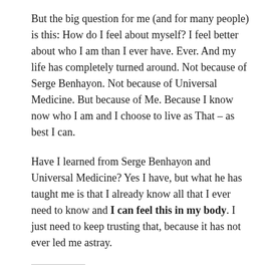But the big question for me (and for many people) is this: How do I feel about myself? I feel better about who I am than I ever have. Ever. And my life has completely turned around. Not because of Serge Benhayon. Not because of Universal Medicine. But because of Me. Because I know now who I am and I choose to live as That – as best I can.
Have I learned from Serge Benhayon and Universal Medicine? Yes I have, but what he has taught me is that I already know all that I ever need to know and I can feel this in my body. I just need to keep trusting that, because it has not ever led me astray.
Share this: